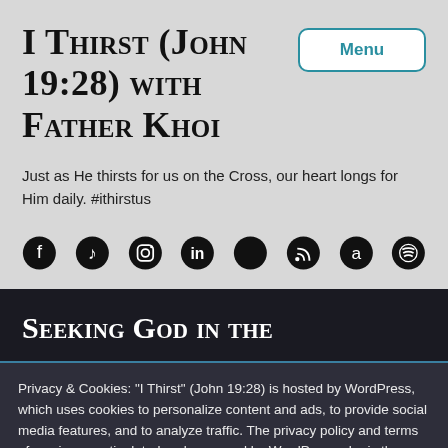I Thirst (John 19:28) with Father Khoi
Just as He thirsts for us on the Cross, our heart longs for Him daily. #ithirstus
[Figure (other): Row of social media icons: Facebook, TikTok, Instagram, LinkedIn, Apple, RSS, Amazon, Spotify]
Seeking God in the
Privacy & Cookies: "I Thirst" (John 19:28) is hosted by WordPress, which uses cookies to personalize content and ads, to provide social media features, and to analyze traffic. The privacy policy and terms of service are stipulated and managed by WordPress who is the host. By continuing to use this website, you agree to the host's terms. Click to view the Cookie Policy